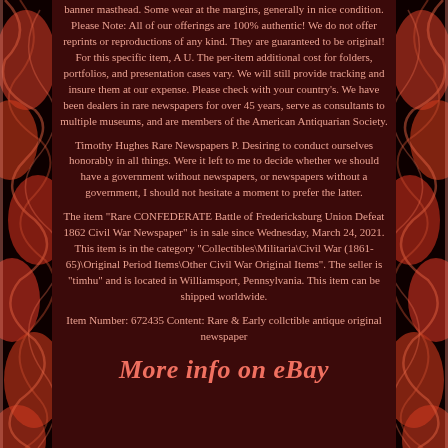banner masthead. Some wear at the margins, generally in nice condition. Please Note: All of our offerings are 100% authentic! We do not offer reprints or reproductions of any kind. They are guaranteed to be original! For this specific item, A U. The per-item additional cost for folders, portfolios, and presentation cases vary. We will still provide tracking and insure them at our expense. Please check with your country's. We have been dealers in rare newspapers for over 45 years, serve as consultants to multiple museums, and are members of the American Antiquarian Society.
Timothy Hughes Rare Newspapers P. Desiring to conduct ourselves honorably in all things. Were it left to me to decide whether we should have a government without newspapers, or newspapers without a government, I should not hesitate a moment to prefer the latter.
The item "Rare CONFEDERATE Battle of Fredericksburg Union Defeat 1862 Civil War Newspaper" is in sale since Wednesday, March 24, 2021. This item is in the category "Collectibles\Militaria\Civil War (1861-65)\Original Period Items\Other Civil War Original Items". The seller is "timhu" and is located in Williamsport, Pennsylvania. This item can be shipped worldwide.
Item Number: 672435 Content: Rare & Early collctible antique original newspaper
More info on eBay